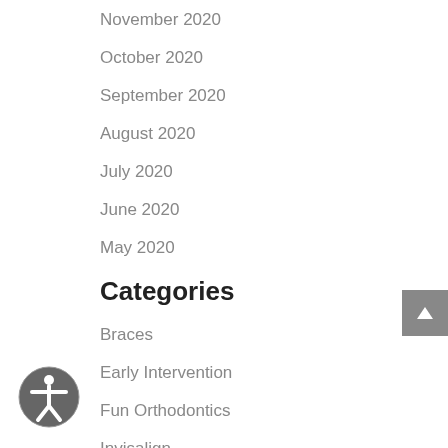November 2020
October 2020
September 2020
August 2020
July 2020
June 2020
May 2020
Categories
Braces
Early Intervention
Fun Orthodontics
Invisalign